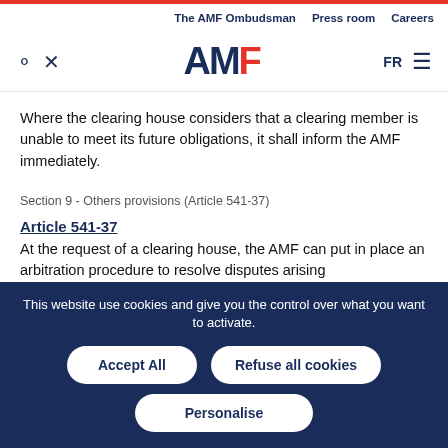The AMF Ombudsman   Press room   Careers
[Figure (logo): AMF logo with search and settings icons on left, FR language selector and hamburger menu on right]
Where the clearing house considers that a clearing member is unable to meet its future obligations, it shall inform the AMF immediately.
Section 9 - Others provisions (Article 541-37)
Article 541-37
At the request of a clearing house, the AMF can put in place an arbitration procedure to resolve disputes arising
This website use cookies and give you the control over what you want to activate.
Accept All   Refuse all cookies   Personalise